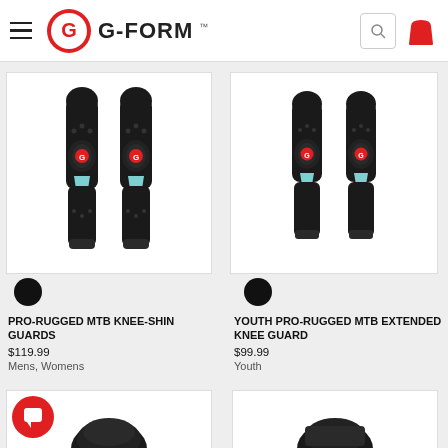G-FORM
[Figure (photo): Black knee-shin guards product photo - PRO-RUGGED MTB KNEE-SHIN GUARDS]
[Figure (photo): Black extended knee guard product photo - YOUTH PRO-RUGGED MTB EXTENDED KNEE GUARD]
PRO-RUGGED MTB KNEE-SHIN GUARDS
$119.99
Mens, Womens
YOUTH PRO-RUGGED MTB EXTENDED KNEE GUARD
$99.99
Youth
[Figure (photo): Partial product photo bottom left]
[Figure (photo): Partial product photo bottom right]